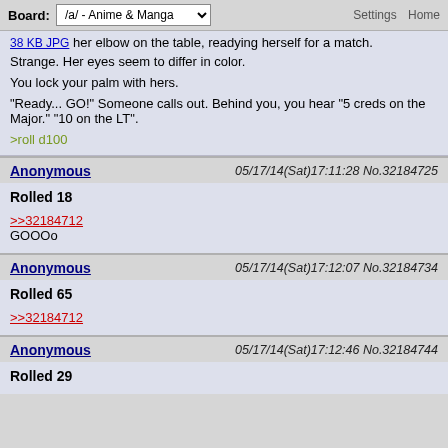Board: /a/ - Anime & Manga   Settings  Home
38 KB JPG  her elbow on the table, readying herself for a match.

Strange. Her eyes seem to differ in color.

You lock your palm with hers.

"Ready... GO!" Someone calls out. Behind you, you hear "5 creds on the Major." "10 on the LT".

>roll d100
Anonymous   05/17/14(Sat)17:11:28 No.32184725
Rolled 18
>>32184712
GOOOo
Anonymous   05/17/14(Sat)17:12:07 No.32184734
Rolled 65
>>32184712
Anonymous   05/17/14(Sat)17:12:46 No.32184744
Rolled 29